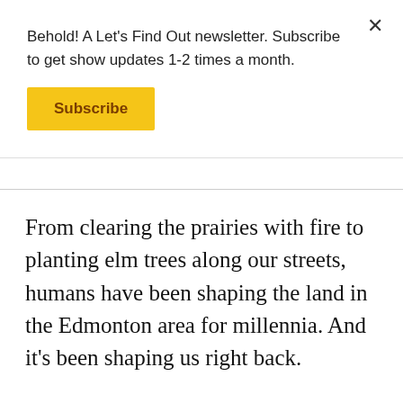Behold! A Let's Find Out newsletter. Subscribe to get show updates 1-2 times a month.
Subscribe
From clearing the prairies with fire to planting elm trees along our streets, humans have been shaping the land in the Edmonton area for millennia. And it's been shaping us right back.
This year, we're embarking on a new season of Let's Find Out, exploring these ideas. We kicked things off with a live show at The Almanac this